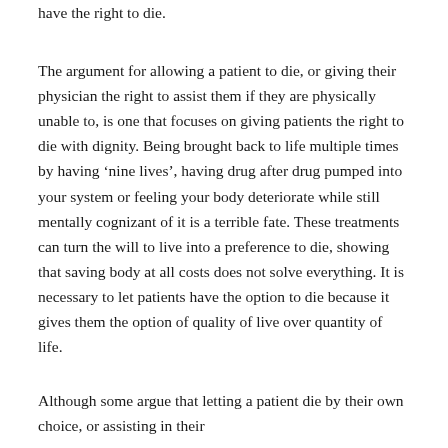have the right to die.
The argument for allowing a patient to die, or giving their physician the right to assist them if they are physically unable to, is one that focuses on giving patients the right to die with dignity. Being brought back to life multiple times by having ‘nine lives’, having drug after drug pumped into your system or feeling your body deteriorate while still mentally cognizant of it is a terrible fate. These treatments can turn the will to live into a preference to die, showing that saving body at all costs does not solve everything. It is necessary to let patients have the option to die because it gives them the option of quality of live over quantity of life.
Although some argue that letting a patient die by their own choice, or assisting in their